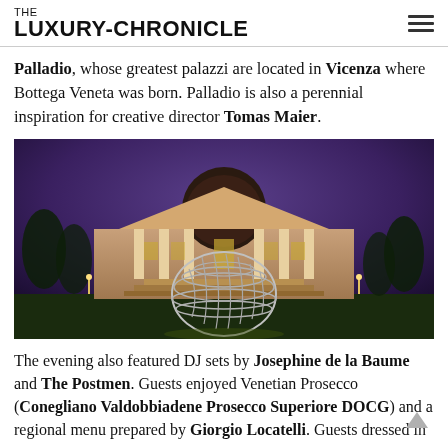THE LUXURY-CHRONICLE
Palladio, whose greatest palazzi are located in Vicenza where Bottega Veneta was born. Palladio is also a perennial inspiration for creative director Tomas Maier.
[Figure (photo): Night-time photograph of a neoclassical Palladian villa illuminated in purple-blue light, with a large silvery woven sculpture in the foreground on the lawn.]
The evening also featured DJ sets by Josephine de la Baume and The Postmen. Guests enjoyed Venetian Prosecco (Conegliano Valdobbiadene Prosecco Superiore DOCG) and a regional menu prepared by Giorgio Locatelli. Guests dressed in Bottega Veneta